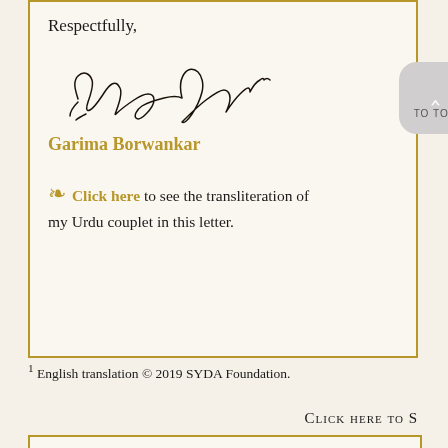Respectfully,
[Figure (illustration): Handwritten cursive signature reading 'Garima Borwankar']
Garima Borwankar
Click here to see the transliteration of my Urdu couplet in this letter.
1 English translation © 2019 SYDA Foundation.
Click here to S